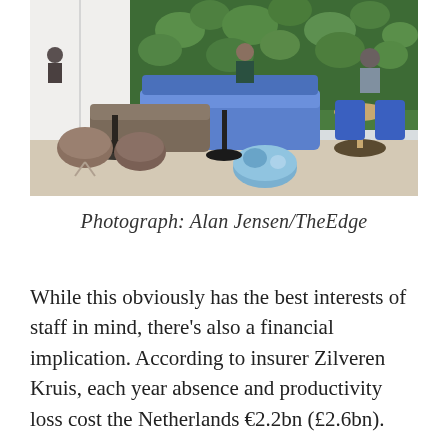[Figure (photo): Office lounge/workspace photo showing modern seating with blue sofas, brown chairs, circular tables, people working, and a green plant wall in the background.]
Photograph: Alan Jensen/TheEdge
While this obviously has the best interests of staff in mind, there's also a financial implication. According to insurer Zilveren Kruis, each year absence and productivity loss cost the Netherlands €2.2bn (£2.6bn).